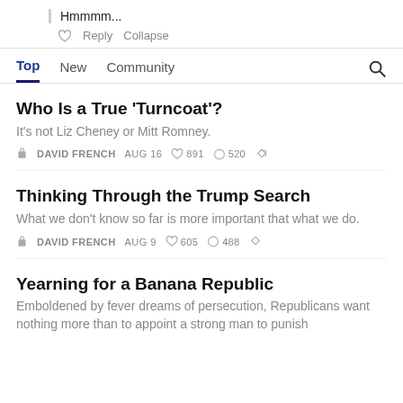Hmmmm...
Reply  Collapse
Top  New  Community
Who Is a True ‘Turncoat’?
It’s not Liz Cheney or Mitt Romney.
DAVID FRENCH  AUG 16  ♥ 891  💬 520
Thinking Through the Trump Search
What we don’t know so far is more important that what we do.
DAVID FRENCH  AUG 9  ♥ 605  💬 488
Yearning for a Banana Republic
Emboldened by fever dreams of persecution, Republicans want nothing more than to appoint a strong man to punish